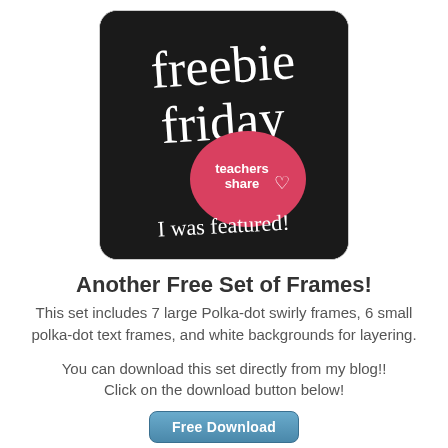[Figure (logo): Freebie Friday Teachers Share badge — black rounded square with white handwritten 'freebie friday' text, a pink blob with 'teachers share' logo and heart, and white handwritten text 'I was featured!' at the bottom]
Another Free Set of Frames!
This set includes 7 large Polka-dot swirly frames, 6 small polka-dot text frames, and white backgrounds for layering.
You can download this set directly from my blog!! Click on the download button below!
Free Download